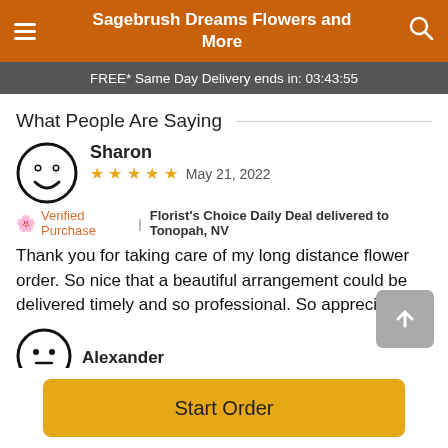Sagebrush Dreams Flowers and More
FREE* Same Day Delivery ends in: 03:43:55
What People Are Saying
Sharon
★★★★★  May 21, 2022
🌸 Verified Purchase  |  Florist's Choice Daily Deal delivered to Tonopah, NV
Thank you for taking care of my long distance flower order. So nice that a beautiful arrangement could be delivered timely and so professional. So appreciate!
Alexander
Start Order